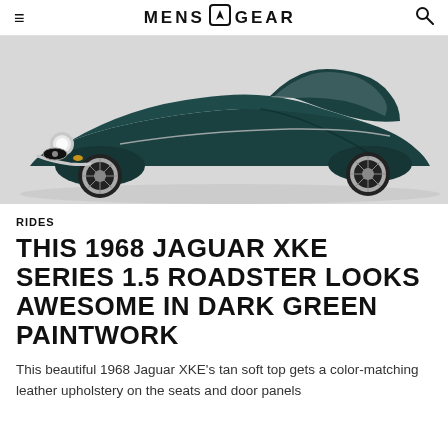MENS GEAR
[Figure (photo): Front three-quarter view of a dark green 1968 Jaguar XKE Series 1.5 Roadster on a light grey background, showing the long bonnet, round headlights, chrome bumper, and wire wheels.]
RIDES
THIS 1968 JAGUAR XKE SERIES 1.5 ROADSTER LOOKS AWESOME IN DARK GREEN PAINTWORK
This beautiful 1968 Jaguar XKE's tan soft top gets a color-matching leather upholstery on the seats and door panels